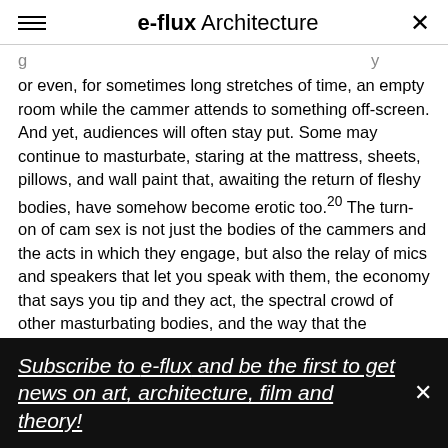e-flux Architecture
or even, for sometimes long stretches of time, an empty room while the cammer attends to something off-screen. And yet, audiences will often stay put. Some may continue to masturbate, staring at the mattress, sheets, pillows, and wall paint that, awaiting the return of fleshy bodies, have somehow become erotic too.²⁰ The turn-on of cam sex is not just the bodies of the cammers and the acts in which they engage, but also the relay of mics and speakers that let you speak with them, the economy that says you tip and they act, the spectral crowd of other masturbating bodies, and the way that the
Subscribe to e-flux and be the first to get news on art, architecture, film and theory!